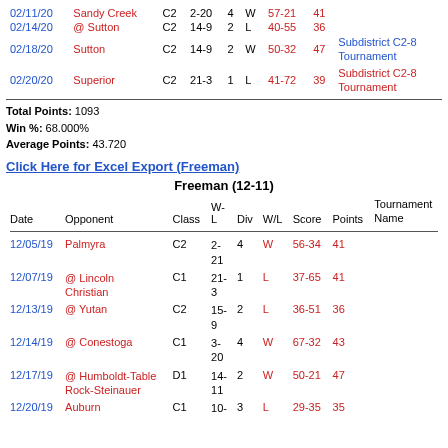| Date | Opponent | Class | W-L | Div | W/L | Score | Points | Tournament Name |
| --- | --- | --- | --- | --- | --- | --- | --- | --- |
| 02/11/20 | Sandy Creek | C2 | 2-20 | 4 | W | 57-21 | 41 |  |
| 02/14/20 | @ Sutton | C2 | 14-9 | 2 | L | 40-55 | 36 |  |
| 02/18/20 | Sutton | C2 | 14-9 | 2 | W | 50-32 | 47 | Subdistrict C2-8 Tournament |
| 02/20/20 | Superior | C2 | 21-3 | 1 | L | 41-72 | 39 | Subdistrict C2-8 Tournament |
Total Points: 1093
Win %: 68.000%
Average Points: 43.720
Click Here for Excel Export (Freeman)
| Date | Opponent | Class | W-L | Div | W/L | Score | Points | Tournament Name |
| --- | --- | --- | --- | --- | --- | --- | --- | --- |
| 12/05/19 | Palmyra | C2 | 2-21 | 4 | W | 56-34 | 41 |  |
| 12/07/19 | @ Lincoln Christian | C1 | 21-3 | 1 | L | 37-65 | 41 |  |
| 12/13/19 | @ Yutan | C2 | 15-9 | 2 | L | 36-51 | 36 |  |
| 12/14/19 | @ Conestoga | C1 | 3-20 | 4 | W | 67-32 | 43 |  |
| 12/17/19 | @ Humboldt-Table Rock-Steinauer | D1 | 14-11 | 2 | W | 50-21 | 47 |  |
| 12/20/19 | Auburn | C1 | 10- | 3 | L | 29-35 | 35 |  |